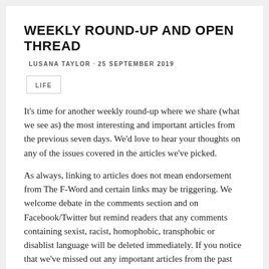WEEKLY ROUND-UP AND OPEN THREAD
LUSANA TAYLOR · 25 SEPTEMBER 2019
LIFE
It's time for another weekly round-up where we share (what we see as) the most interesting and important articles from the previous seven days. We'd love to hear your thoughts on any of the issues covered in the articles we've picked.
As always, linking to articles does not mean endorsement from The F-Word and certain links may be triggering. We welcome debate in the comments section and on Facebook/Twitter but remind readers that any comments containing sexist, racist, homophobic, transphobic or disablist language will be deleted immediately. If you notice that we've missed out any important articles from the past week, feel free to let us know.